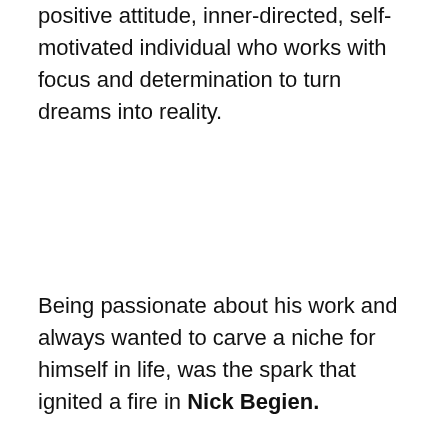positive attitude, inner-directed, self- motivated individual who works with focus and determination to turn dreams into reality.
Being passionate about his work and always wanted to carve a niche for himself in life, was the spark that ignited a fire in Nick Begien.